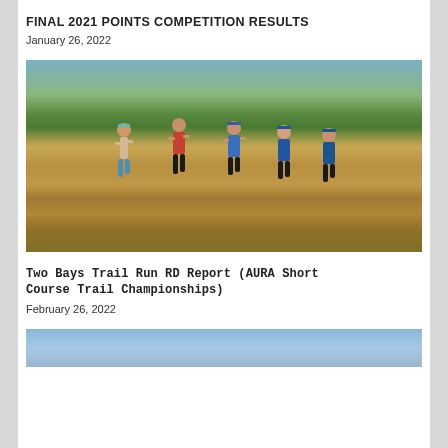FINAL 2021 POINTS COMPETITION RESULTS
January 26, 2022
[Figure (photo): Group of trail runners running through dry grassy terrain with green shrubs and trees in the background on a sunny day.]
Two Bays Trail Run RD Report (AURA Short Course Trail Championships)
February 26, 2022
[Figure (photo): Partial view of a second photo, appears to show a body of water or blue sky scene, cropped at the bottom of the page.]